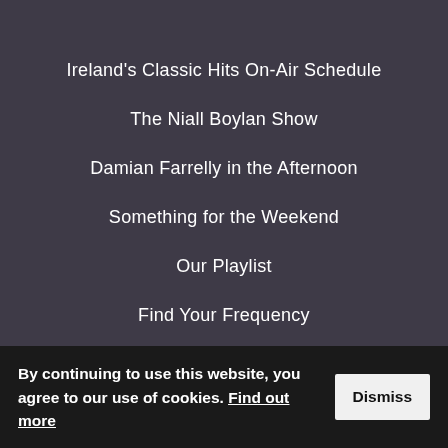Ireland's Classic Hits On-Air Schedule
The Niall Boylan Show
Damian Farrelly in the Afternoon
Something for the Weekend
Our Playlist
Find Your Frequency
Classic Hits 80's
Find a Song we Played
By continuing to use this website, you agree to our use of cookies. Find out more
Dismiss